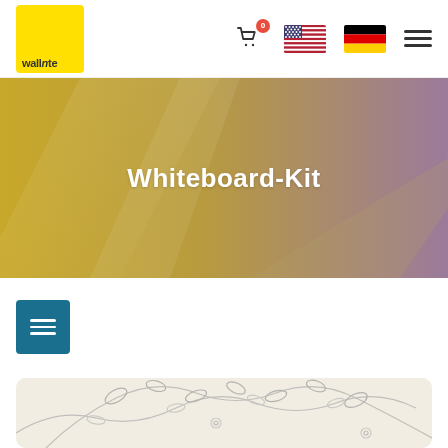[Figure (logo): Wallnte logo — yellow square with brand name wallnte in dark text]
[Figure (screenshot): Navigation icons: shopping cart with badge 0, US flag, German flag, hamburger menu]
[Figure (illustration): Hero banner with gradient from gold/yellow on left to mauve/purple on right, diagonal light streaks]
Whiteboard-Kit
[Figure (other): Teal/dark cyan square icon with three horizontal white lines (filter/menu button)]
[Figure (illustration): Partial product card with beige background showing botanical line art — tree branches with leaves and flowers in greyscale]